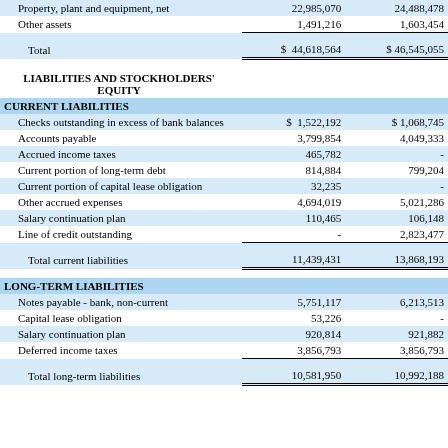|  | Col1 | Col2 |
| --- | --- | --- |
| Property, plant and equipment, net | 22,985,070 | 24,488,478 |
| Other assets | 1,491,216 | 1,603,454 |
| Total | $ 44,618,564 | $ 46,545,055 |
| LIABILITIES AND STOCKHOLDERS' EQUITY |  |  |
| CURRENT LIABILITIES |  |  |
| Checks outstanding in excess of bank balances | $ 1,522,192 | $ 1,068,745 |
| Accounts payable | 3,799,854 | 4,049,333 |
| Accrued income taxes | 465,782 | - |
| Current portion of long-term debt | 814,884 | 799,204 |
| Current portion of capital lease obligation | 32,235 | - |
| Other accrued expenses | 4,694,019 | 5,021,286 |
| Salary continuation plan | 110,465 | 106,148 |
| Line of credit outstanding | - | 2,823,477 |
| Total current liabilities | 11,439,431 | 13,868,193 |
| LONG-TERM LIABILITIES |  |  |
| Notes payable - bank, non-current | 5,751,117 | 6,213,513 |
| Capital lease obligation | 53,226 | - |
| Salary continuation plan | 920,814 | 921,882 |
| Deferred income taxes | 3,856,793 | 3,856,793 |
| Total long-term liabilities | 10,581,950 | 10,992,188 |